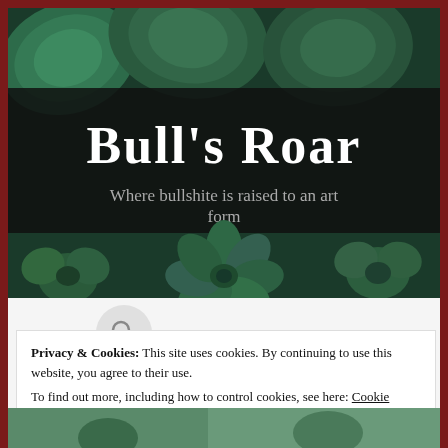[Figure (photo): Succulent plants header image with dark semi-transparent band containing site title and tagline]
Bull's Roar
Where bullshite is raised to an art form
Privacy & Cookies: This site uses cookies. By continuing to use this website, you agree to their use.
To find out more, including how to control cookies, see here: Cookie Policy
Close and accept